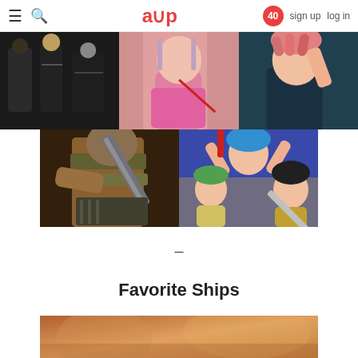aup  sign up  log in  40
[Figure (photo): Three-panel anime image grid: left panel shows group of characters in black outfits, center panel shows a female anime character in pink outfit, right panel shows a male anime character with pink hair in teal/dark background]
[Figure (photo): Two-panel anime image grid: left panel shows a muscular armored warrior (Berserk style), right panel shows colorful group of anime characters with blue-haired character]
–
Favorite Ships
[Figure (photo): Partial anime image teaser at bottom of page with warm orange/brown tones]